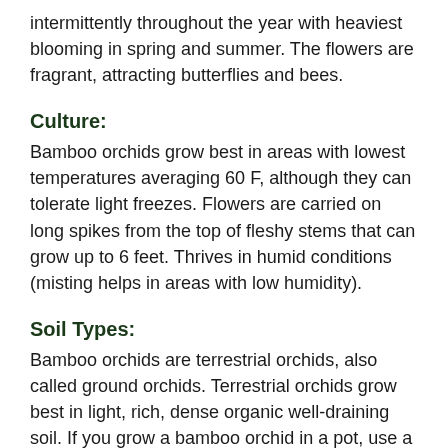intermittently throughout the year with heaviest blooming in spring and summer. The flowers are fragrant, attracting butterflies and bees.
Culture:
Bamboo orchids grow best in areas with lowest temperatures averaging 60 F, although they can tolerate light freezes. Flowers are carried on long spikes from the top of fleshy stems that can grow up to 6 feet. Thrives in humid conditions (misting helps in areas with low humidity).
Soil Types:
Bamboo orchids are terrestrial orchids, also called ground orchids. Terrestrial orchids grow best in light, rich, dense organic well-draining soil. If you grow a bamboo orchid in a pot, use a potting mix of equal parts of fine fir bark, sphagnum moss and sand. Before planting, place your orchid upright and partially